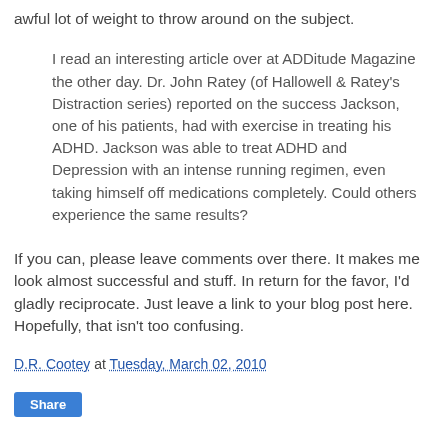awful lot of weight to throw around on the subject.
I read an interesting article over at ADDitude Magazine the other day. Dr. John Ratey (of Hallowell & Ratey's Distraction series) reported on the success Jackson, one of his patients, had with exercise in treating his ADHD. Jackson was able to treat ADHD and Depression with an intense running regimen, even taking himself off medications completely. Could others experience the same results?
If you can, please leave comments over there. It makes me look almost successful and stuff. In return for the favor, I'd gladly reciprocate. Just leave a link to your blog post here. Hopefully, that isn't too confusing.
D.R. Cootey at Tuesday, March 02, 2010
Share